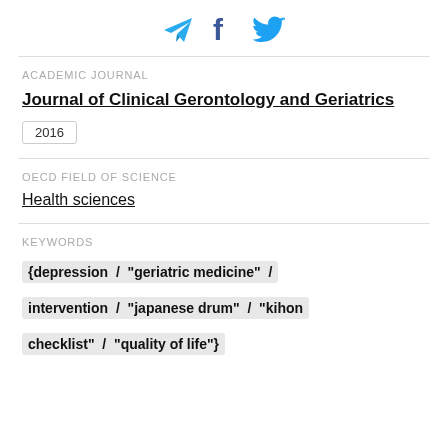[Figure (other): Social share icons: Telegram (paper plane), Facebook (f), Twitter (bird) in blue tones]
ACADEMIC JOURNAL
Journal of Clinical Gerontology and Geriatrics
2016
OECD FIELD OF SCIENCE
Health sciences
KEYWORDS
{depression / "geriatric medicine" / intervention / "japanese drum" / "kihon checklist" / "quality of life"}